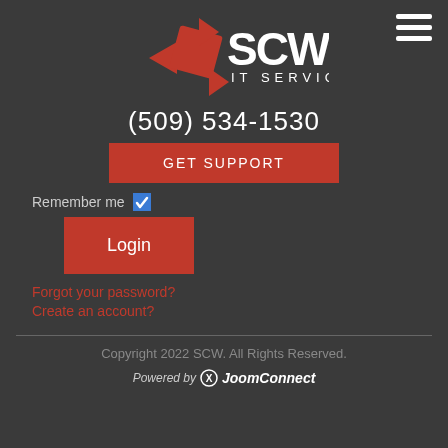[Figure (logo): SCW IT Services logo with red arrow/diamond graphic and white SCW text with IT SERVICES below, plus hamburger menu icon in top right]
(509) 534-1530
Get SUPPORT
Remember me ✓
Login
Forgot your password?
Create an account?
Copyright 2022 SCW. All Rights Reserved.
Powered by JoomConnect